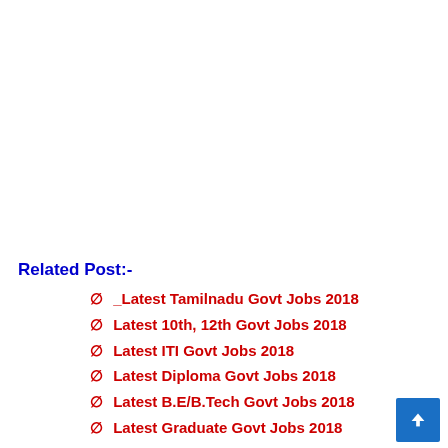Related Post:-
∅ _Latest Tamilnadu Govt Jobs 2018
∅ Latest 10th, 12th Govt Jobs 2018
∅ Latest ITI Govt Jobs 2018
∅ Latest Diploma Govt Jobs 2018
∅ Latest B.E/B.Tech Govt Jobs 2018
∅ Latest Graduate Govt Jobs 2018
∅ Latest Central Govt. Jobs 2018